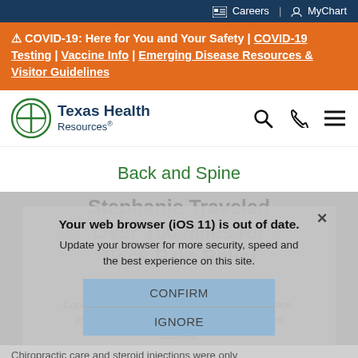Careers | MyChart
⚠ COVID-19: Here for You and Your Safety | COVID-19 Testing | Vaccine Info | Emerging Disease Resources & Visitor Guidelines
[Figure (logo): Texas Health Resources logo with circular cross icon]
Back and Spine
[Figure (screenshot): Gray overlay with browser out-of-date modal dialog over faded background text about 'Stephanie Traveled Over 100 Miles for Neck Pain Relief'. Modal says: Your web browser (iOS 11) is out of date. Update your browser for more security, speed and the best experience on this site. Buttons: CONFIRM and IGNORE. Cookie notice text: Cookies help us improve your website experience. By using our website, you agree to our use of cookies.]
Chiropractic care and steroid injections were only